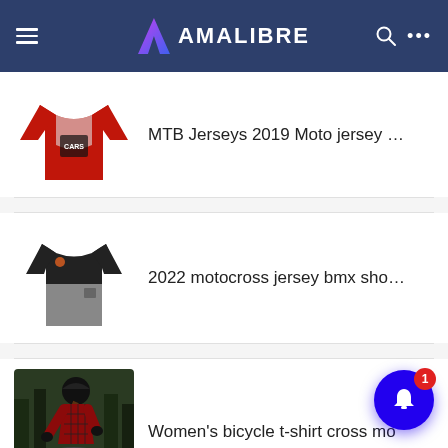AMALIBRE
MTB Jerseys 2019 Moto jersey Moto
2022 motocross jersey bmx short s
Women's bicycle t-shirt cross mo